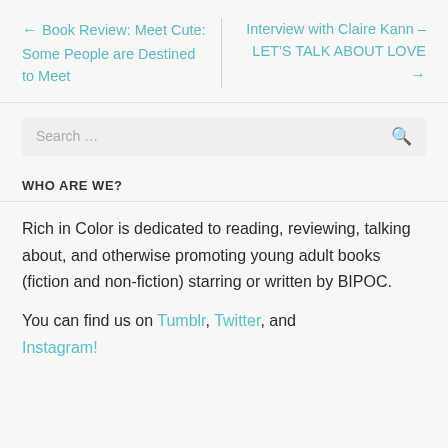← Book Review: Meet Cute: Some People are Destined to Meet | Interview with Claire Kann – LET'S TALK ABOUT LOVE →
Search …
WHO ARE WE?
Rich in Color is dedicated to reading, reviewing, talking about, and otherwise promoting young adult books (fiction and non-fiction) starring or written by BIPOC.
You can find us on Tumblr, Twitter, and Instagram!